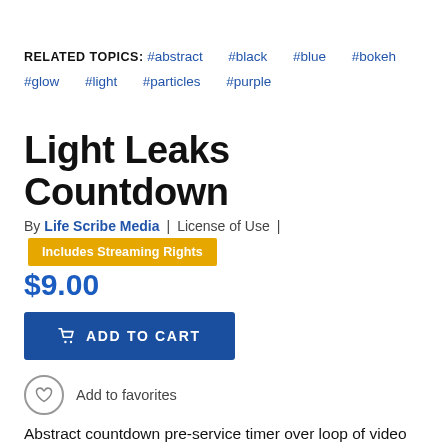RELATED TOPICS: #abstract #black #blue #bokeh #glow #light #particles #purple
Light Leaks Countdown
By Life Scribe Media | License of Use | Includes Streaming Rights
$9.00
ADD TO CART
Add to favorites
Abstract countdown pre-service timer over loop of video